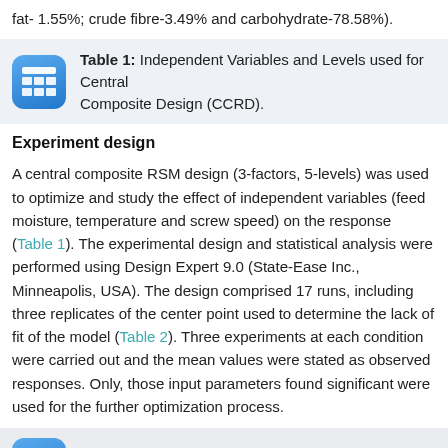fat- 1.55%; crude fibre-3.49% and carbohydrate-78.58%).
Table 1: Independent Variables and Levels used for Central Composite Design (CCRD).
Experiment design
A central composite RSM design (3-factors, 5-levels) was used to optimize and study the effect of independent variables (feed moisture, temperature and screw speed) on the response (Table 1). The experimental design and statistical analysis were performed using Design Expert 9.0 (State-Ease Inc., Minneapolis, USA). The design comprised 17 runs, including three replicates of the center point used to determine the lack of fit of the model (Table 2). Three experiments at each condition were carried out and the mean values were stated as observed responses. Only, those input parameters found significant were used for the further optimization process.
Table 2: Response surface design for the extrusion.